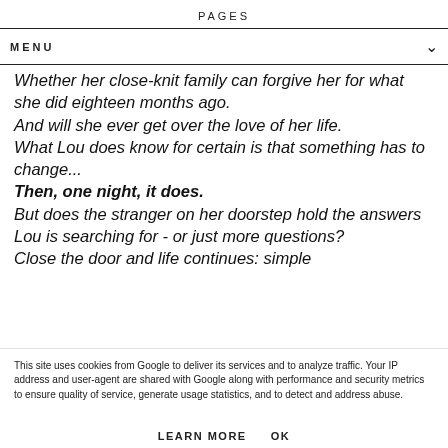PAGES
MENU
Whether her close-knit family can forgive her for what she did eighteen months ago.
And will she ever get over the love of her life.
What Lou does know for certain is that something has to change...
Then, one night, it does.
But does the stranger on her doorstep hold the answers Lou is searching for - or just more questions?
Close the door and life continues: simple
This site uses cookies from Google to deliver its services and to analyze traffic. Your IP address and user-agent are shared with Google along with performance and security metrics to ensure quality of service, generate usage statistics, and to detect and address abuse.
LEARN MORE    OK